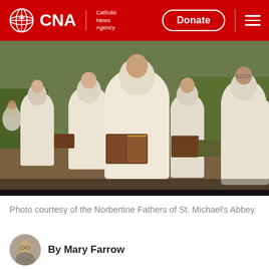CNA | Catholic News Agency — Donate
[Figure (photo): Norbertine Fathers in white habits standing outdoors reading from brown books, chanting or praying together]
Photo courtesy of the Norbertine Fathers of St. Michael's Abbey.
By Mary Farrow